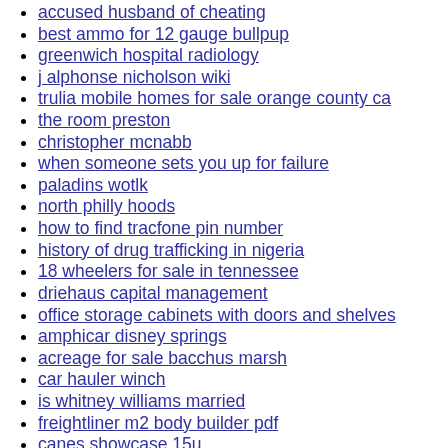accused husband of cheating
best ammo for 12 gauge bullpup
greenwich hospital radiology
j alphonse nicholson wiki
trulia mobile homes for sale orange county ca
the room preston
christopher mcnabb
when someone sets you up for failure
paladins wotlk
north philly hoods
how to find tracfone pin number
history of drug trafficking in nigeria
18 wheelers for sale in tennessee
driehaus capital management
office storage cabinets with doors and shelves
amphicar disney springs
acreage for sale bacchus marsh
car hauler winch
is whitney williams married
freightliner m2 body builder pdf
canes showcase 15u
adidas outlet return policy covid
lidl job interview questions
nease football schedule 2021
4 stroke carb tuning